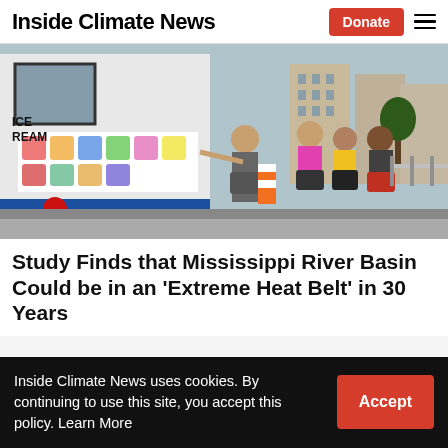Inside Climate News
[Figure (photo): An ice cream truck vendor hands items to children on a sunny city street. The truck has colorful ice cream images on its side, and a woman in a gray shirt is serving kids while buildings and city infrastructure are visible in the background.]
Study Finds that Mississippi River Basin Could be in an 'Extreme Heat Belt' in 30 Years
Inside Climate News uses cookies. By continuing to use this site, you accept this policy. Learn More